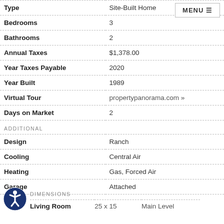| Property Detail | Value |
| --- | --- |
| Type | Site-Built Home |
| Bedrooms | 3 |
| Bathrooms | 2 |
| Annual Taxes | $1,378.00 |
| Year Taxes Payable | 2020 |
| Year Built | 1989 |
| Virtual Tour | propertypanorama.com » |
| Days on Market | 2 |
ADDITIONAL
| Feature | Value |
| --- | --- |
| Design | Ranch |
| Cooling | Central Air |
| Heating | Gas, Forced Air |
| Garage | Attached |
DIMENSIONS
| Room | Dimensions | Level |
| --- | --- | --- |
| Living Room | 25 x 15 | Main Level |